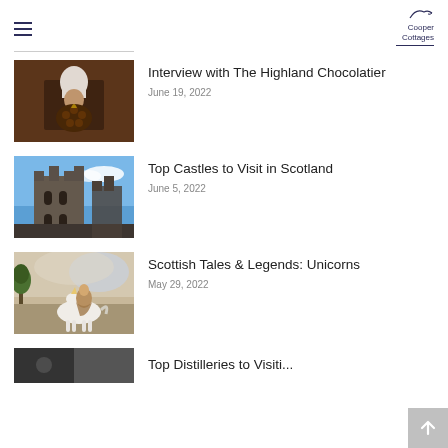Cooper Cottages
Interview with The Highland Chocolatier — June 19, 2022
Top Castles to Visit in Scotland — June 5, 2022
Scottish Tales & Legends: Unicorns — May 29, 2022
Top Distilleries to Visi... (partial)